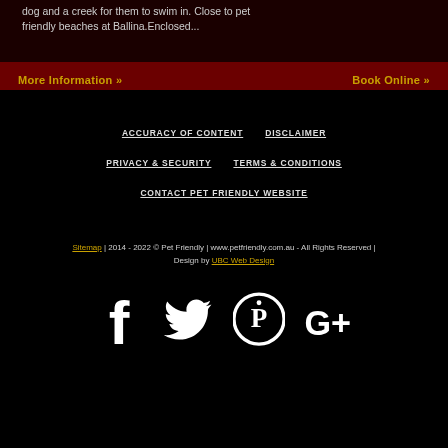dog and a creek for them to swim in. Close to pet friendly beaches at Ballina.Enclosed...
More Information »
Book Online »
ACCURACY OF CONTENT
DISCLAIMER
PRIVACY & SECURITY
TERMS & CONDITIONS
CONTACT PET FRIENDLY WEBSITE
Sitemap | 2014 - 2022 © Pet Friendly | www.petfriendly.com.au - All Rights Reserved | Design by UBC Web Design
[Figure (illustration): Social media icons: Facebook, Twitter, Pinterest, Google+]